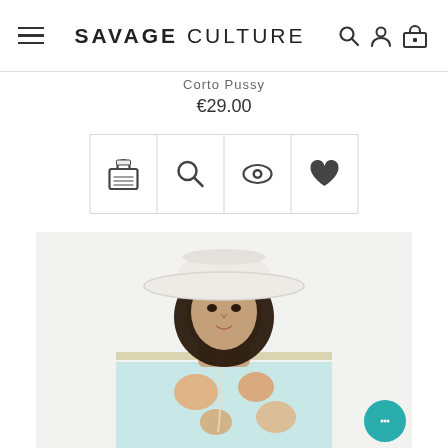SAVAGE CULTURE
Corto Pussy
€29.00
[Figure (screenshot): E-commerce product page screenshot showing Savage Culture website header, product title 'Corto Pussy', price €29.00, four action icon buttons (cart, search, eye/view, heart/wishlist), and a fashion product photo of a woman wearing a white wide-brim hat and floral light blue blouse]
[Figure (photo): Fashion model wearing white wide-brim fedora hat and floral light blue/mint jacket with orange flower print, with a beaded necklace chain, dark curly hair, photographed against white background]